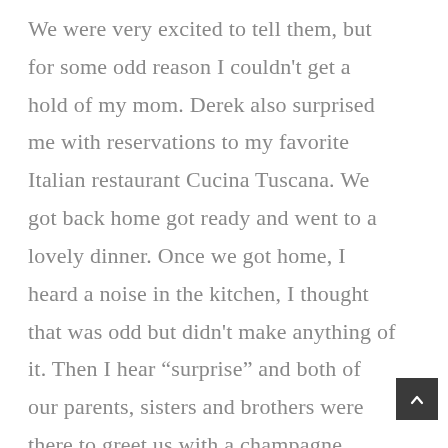We were very excited to tell them, but for some odd reason I couldn't get a hold of my mom. Derek also surprised me with reservations to my favorite Italian restaurant Cucina Tuscana. We got back home got ready and went to a lovely dinner. Once we got home, I heard a noise in the kitchen, I thought that was odd but didn't make anything of it. Then I hear “surprise” and both of our parents, sisters and brothers were there to greet us with a champagne toast. My mom had not answered the phone earlier because she had been afraid she would ruin the